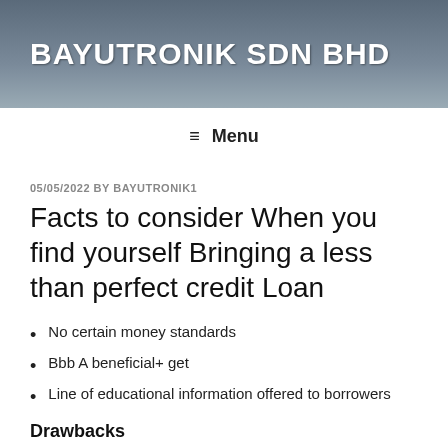BAYUTRONIK SDN BHD
≡ Menu
05/05/2022 BY BAYUTRONIK1
Facts to consider When you find yourself Bringing a less than perfect credit Loan
No certain money standards
Bbb A beneficial+ get
Line of educational information offered to borrowers
Drawbacks